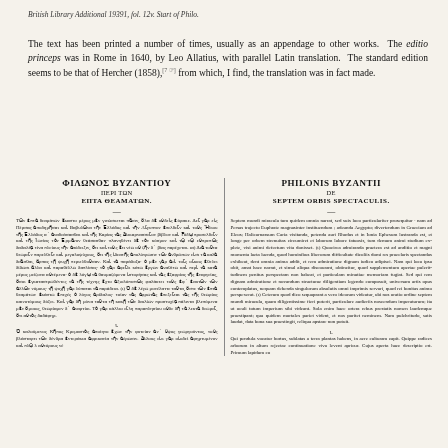British Library Additional 19391, fol. 12v. Start of Philo.
The text has been printed a number of times, usually as an appendage to other works. The editio princeps was in Rome in 1640, by Leo Allatius, with parallel Latin translation. The standard edition seems to be that of Hercher (1858),[7 ??] from which, I find, the translation was in fact made.
ΦΙΛΩΝΟΣ ΒΥΖΑΝΤΙΟΥ / ΠΕΡΙ ΤΩΝ / ΕΠΤΑ ΘΕΑΜΑΤΩΝ.
PHILONIS BYZANTII / DE / SEPTEM ORBIS SPECTACULIS.
Greek body text (left column) — multiple paragraphs of Greek text from Philo of Byzantium.
Latin body text (right column) — Septem mundi miracula tum quidem omnia narrat, sed suis loco particulariter prosequitur...